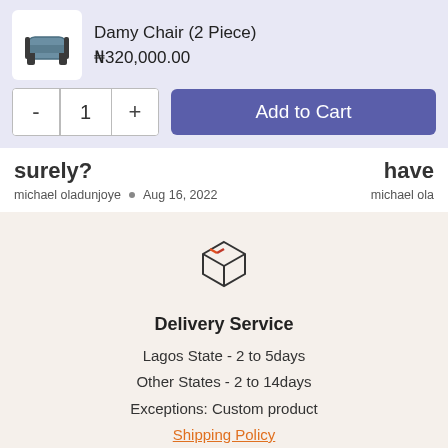Damy Chair (2 Piece)
₦320,000.00
Add to Cart
surely?
michael oladunjoye • Aug 16, 2022
[Figure (illustration): Box/package icon representing delivery service]
Delivery Service
Lagos State - 2 to 5days
Other States - 2 to 14days
Exceptions: Custom product
Shipping Policy
Chat with us